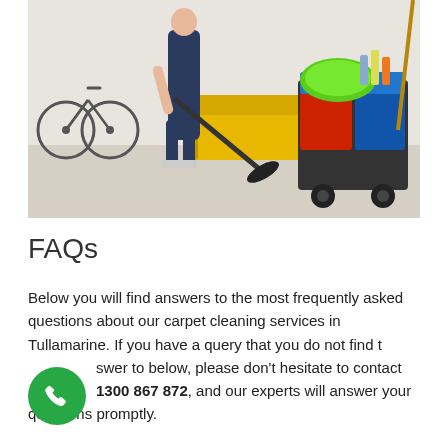[Figure (photo): Photo of a professional cleaner in dark uniform vacuuming a floor with a yellow sofa and a bicycle in the background, next to a red and blue cleaning cart with supplies including a green microfiber mop]
FAQs
Below you will find answers to the most frequently asked questions about our carpet cleaning services in Tullamarine. If you have a query that you do not find the answer to below, please don't hesitate to contact us on 1300 867 872, and our experts will answer your questions promptly.